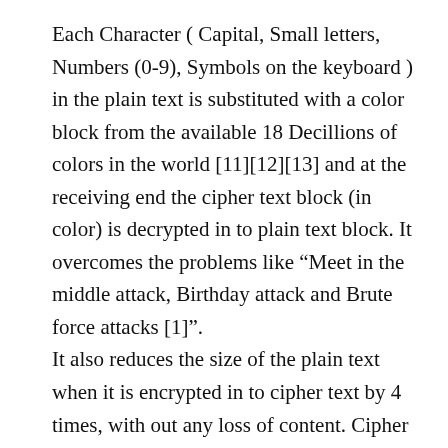Each Character ( Capital, Small letters, Numbers (0-9), Symbols on the keyboard ) in the plain text is substituted with a color block from the available 18 Decillions of colors in the world [11][12][13] and at the receiving end the cipher text block (in color) is decrypted in to plain text block. It overcomes the problems like “Meet in the middle attack, Birthday attack and Brute force attacks [1]”. It also reduces the size of the plain text when it is encrypted in to cipher text by 4 times, with out any loss of content. Cipher text occupies very less buffer space; hence transmitting through channel is very fast. With this the transportation cost through channel comes